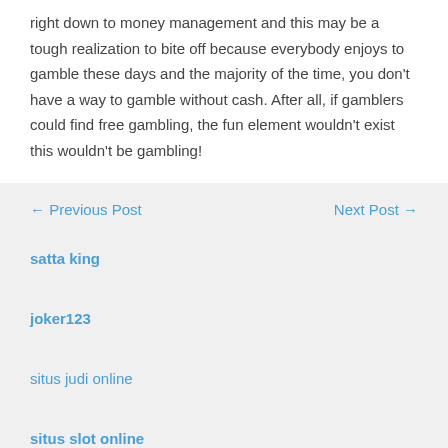right down to money management and this may be a tough realization to bite off because everybody enjoys to gamble these days and the majority of the time, you don't have a way to gamble without cash. After all, if gamblers could find free gambling, the fun element wouldn't exist this wouldn't be gambling!
← Previous Post    Next Post →
satta king
joker123
situs judi online
situs slot online